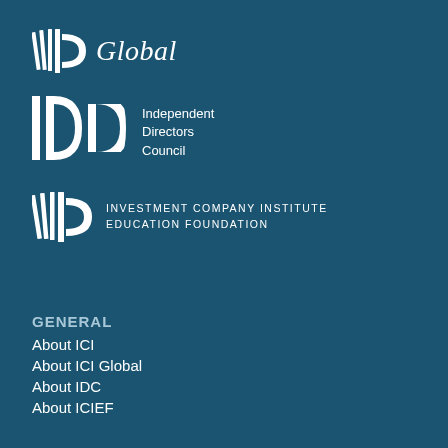[Figure (logo): ICI Global logo with stylized ICI mark and italic 'Global' text in white on teal background]
[Figure (logo): IDC Independent Directors Council logo with large serif IDC letters and stacked text in white on teal background]
[Figure (logo): ICI Investment Company Institute Education Foundation logo with ICI mark and uppercase spaced text in white on teal background]
GENERAL
About ICI
About ICI Global
About IDC
About ICIEF